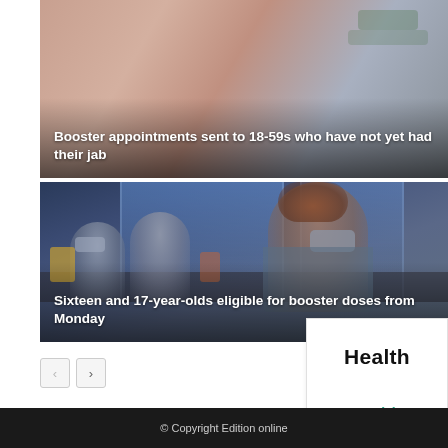[Figure (photo): Close-up photo of a person receiving a vaccine injection in the upper arm, with a healthcare worker wearing green-striped clothing]
Booster appointments sent to 18-59s who have not yet had their jab
[Figure (photo): Photo of a vaccination centre with healthcare workers in masks and scrubs seated at tables, blue-tinted lighting from windows]
Sixteen and 17-year-olds eligible for booster doses from Monday
Health
Health
© Copyright Edition online